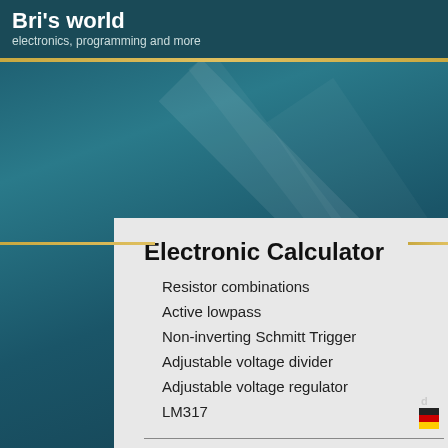Bri's world
electronics, programming and more
Electronic Calculator
Resistor combinations
Active lowpass
Non-inverting Schmitt Trigger
Adjustable voltage divider
Adjustable voltage regulator
LM317
Microcontroller